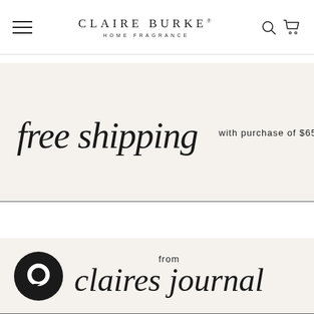CLAIRE BURKE HOME FRAGRANCE
[Figure (other): Free shipping banner with script text 'free shipping' and sans-serif text 'with purchase of $65+']
[Figure (other): Claire's journal section banner with circular chat icon and script text 'from claires journal']